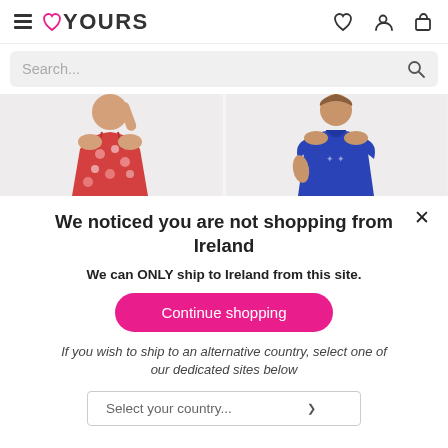YOURS - navigation header with hamburger menu, logo, wishlist, account, and cart icons
Search...
[Figure (photo): Two product photos side by side: left shows a woman in a red floral sleeveless dress, right shows a woman in a blue short-sleeve top]
We noticed you are not shopping from Ireland
We can ONLY ship to Ireland from this site.
Continue shopping
If you wish to ship to an alternative country, select one of our dedicated sites below
Select your country...